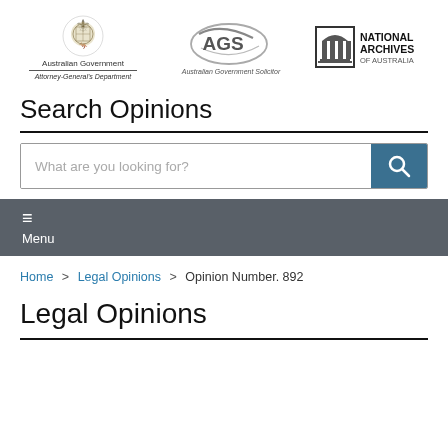[Figure (logo): Australian Government crest with 'Australian Government' and 'Attorney-General's Department' text below]
[Figure (logo): AGS (Australian Government Solicitor) logo with swoosh design]
[Figure (logo): National Archives of Australia logo with building icon]
Search Opinions
What are you looking for?
≡ Menu
Home > Legal Opinions > Opinion Number. 892
Legal Opinions